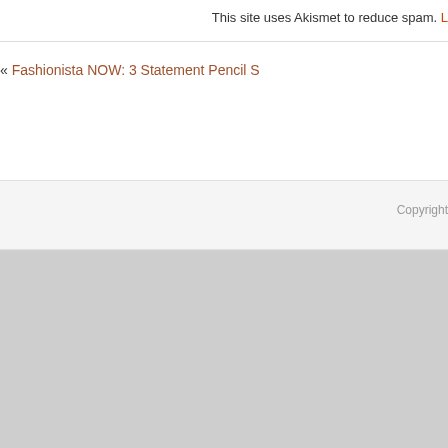This site uses Akismet to reduce spam. L
« Fashionista NOW: 3 Statement Pencil S
Copyright